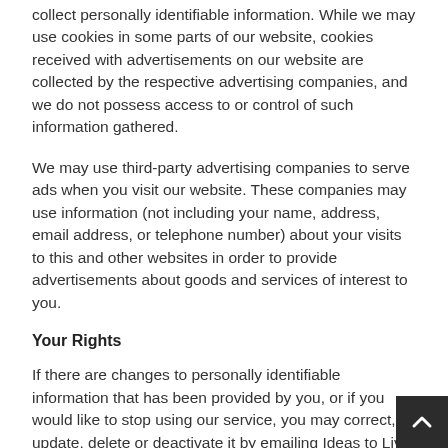collect personally identifiable information. While we may use cookies in some parts of our website, cookies received with advertisements on our website are collected by the respective advertising companies, and we do not possess access to or control of such information gathered.
We may use third-party advertising companies to serve ads when you visit our website. These companies may use information (not including your name, address, email address, or telephone number) about your visits to this and other websites in order to provide advertisements about goods and services of interest to you.
Your Rights
If there are changes to personally identifiable information that has been provided by you, or if you would like to stop using our service, you may correct, update, delete or deactivate it by emailing Ideas to Live By or by postal mail at the contact information listed below. In order to protect the privacy of yourself and other parties, we may requir